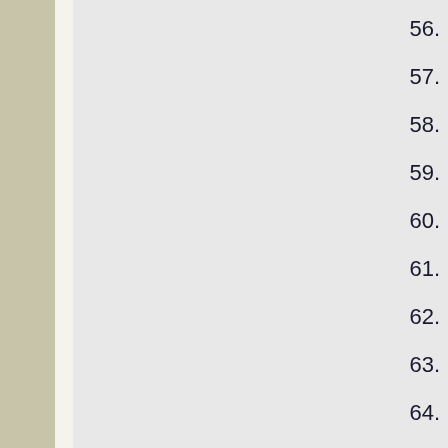56.
57.
58.
59.
60.
61.
62.
63.
64.
65.
66.
67.
68.
69.